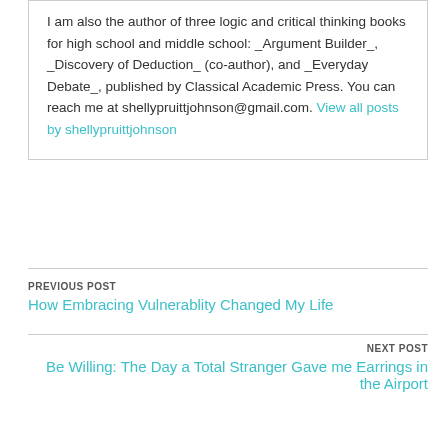I am also the author of three logic and critical thinking books for high school and middle school: _Argument Builder_, _Discovery of Deduction_ (co-author), and _Everyday Debate_, published by Classical Academic Press. You can reach me at shellypruittjohnson@gmail.com. View all posts by shellypruittjohnson
PREVIOUS POST
How Embracing Vulnerablity Changed My Life
NEXT POST
Be Willing: The Day a Total Stranger Gave me Earrings in the Airport